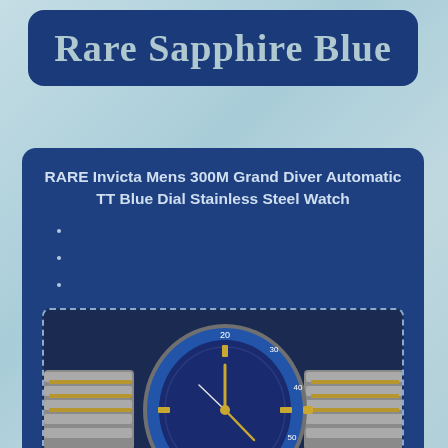Rare Sapphire Blue
RARE Invicta Mens 300M Grand Diver Automatic TT Blue Dial Stainless Steel Watch
[Figure (photo): Close-up photo of an Invicta Grand Diver watch with blue dial, gold accents, stainless steel bracelet, and blue rotating bezel with white numerals. An eBay watermark appears at the bottom center.]